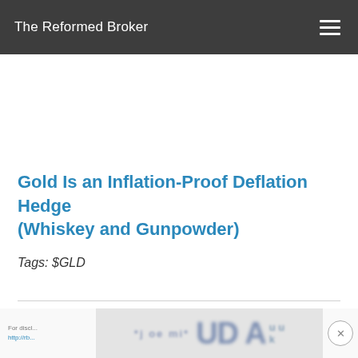The Reformed Broker
Gold Is an Inflation-Proof Deflation Hedge (Whiskey and Gunpowder)
Tags: $GLD
[Figure (other): Blurred advertisement banner at the bottom of the page with partially visible text and logo]